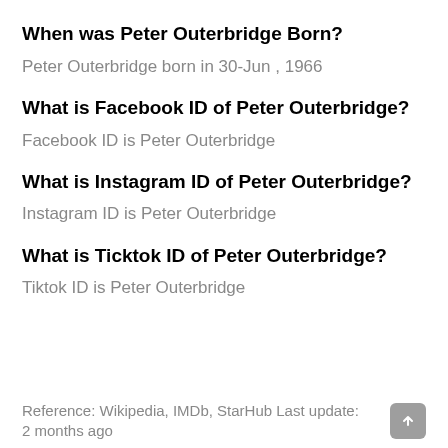When was Peter Outerbridge Born?
Peter Outerbridge born in 30-Jun , 1966
What is Facebook ID of Peter Outerbridge?
Facebook ID is Peter Outerbridge
What is Instagram ID of Peter Outerbridge?
Instagram ID is Peter Outerbridge
What is Ticktok ID of Peter Outerbridge?
Tiktok ID is Peter Outerbridge
Reference: Wikipedia, IMDb, StarHub Last update: 2 months ago